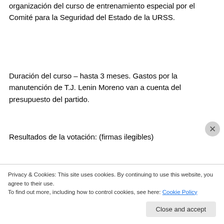organización del curso de entrenamiento especial por el Comité para la Seguridad del Estado de la URSS.
Duración del curso – hasta 3 meses. Gastos por la manutención de T.J. Lenin Moreno van a cuenta del presupuesto del partido.
Resultados de la votación: (firmas ilegibles)
Sobre la petición del Secretario general del Partido Comunista de Venezuela, T. J. Faría
El Secretario general del Partido Comunista de
Privacy & Cookies: This site uses cookies. By continuing to use this website, you agree to their use.
To find out more, including how to control cookies, see here: Cookie Policy